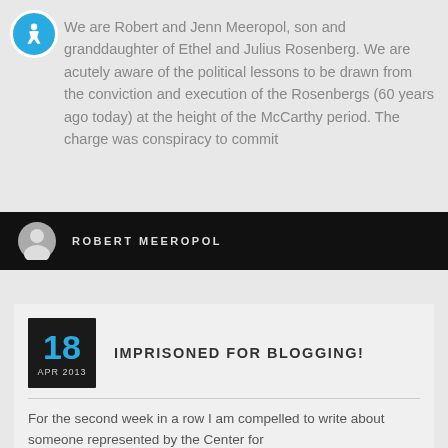[Figure (illustration): Accessibility icon: blue circle with white person/wheelchair symbol]
We are Robert and Jenn Meeropol, son and granddaughter of Ethel and Julius Rosenberg. We are acutely aware of the political lessons to be drawn from the conviction and execution of the Rosenbergs (60 years ago today) at the height of the McCarthy period. The charge was conspiracy to commit
ROBERT MEEROPOL
IMPRISONED FOR BLOGGING!
18 APR 2013
For the second week in a row I am compelled to write about someone represented by the Center for